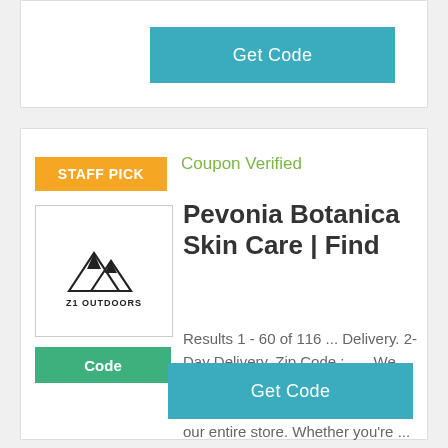[Figure (other): Get Code button (teal/cyan) at top of page]
[Figure (logo): Z1 Outdoors logo with mountain imagery]
STAFF PICK
Coupon Verified
Pevonia Botanica Skin Care | Find
Code
Results 1 - 60 of 116 ... Delivery. 2-Day Delivery. Zip Code : ..... We work every day to bring you discounts on new products across our entire store. Whether you're ...
Get Code